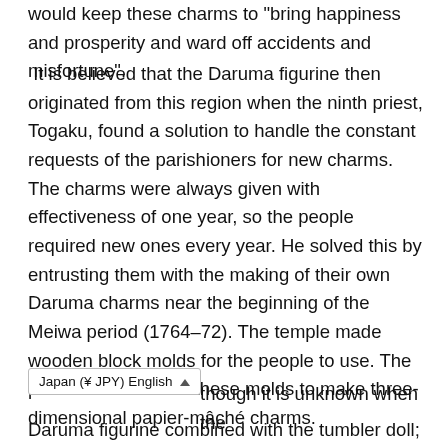would keep these charms to "bring happiness and prosperity and ward off accidents and misfortune".
It is believed that the Daruma figurine then originated from this region when the ninth priest, Togaku, found a solution to handle the constant requests of the parishioners for new charms. The charms were always given with effectiveness of one year, so the people required new ones every year. He solved this by entrusting them with the making of their own Daruma charms near the beginning of the Meiwa period (1764–72). The temple made wooden block molds for the people to use. The peasants then used these molds to make three-dimensional papier-mâché charms.
[Figure (screenshot): UI dropdown widget showing 'Japan (¥ JPY) English' with an up arrow]
though it is unknown when the Daruma figurine combined with the tumbler doll;